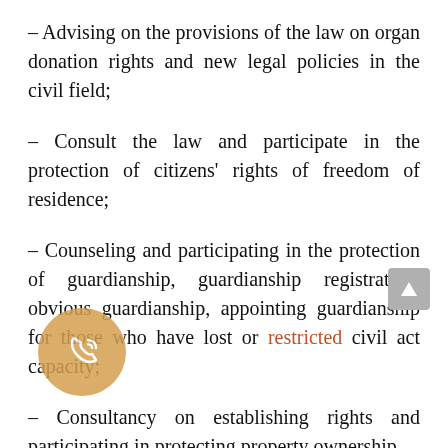– Advising on the provisions of the law on organ donation rights and new legal policies in the civil field;
– Consult the law and participate in the protection of citizens' rights of freedom of residence;
– Counseling and participating in the protection of guardianship, guardianship registration, obvious guardianship, appointing guardianship for those who have lost or restricted civil act capacity;
– Consultancy on establishing rights and participating in protecting property ownership